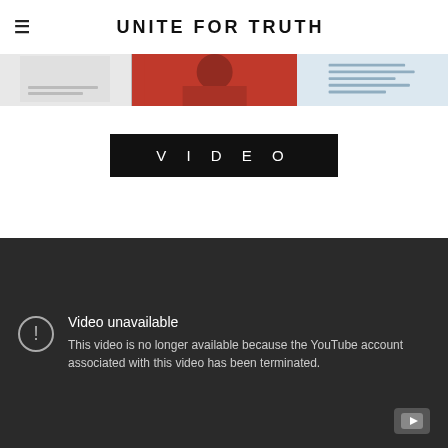UNITE FOR TRUTH
[Figure (screenshot): Banner strip with three panels: left panel shows a document thumbnail, center panel shows a person in red clothing, right panel shows a text document thumbnail]
VIDEO
[Figure (screenshot): Dark gray YouTube video embed showing 'Video unavailable' error. Text reads: 'Video unavailable. This video is no longer available because the YouTube account associated with this video has been terminated.' YouTube logo icon in bottom right corner.]